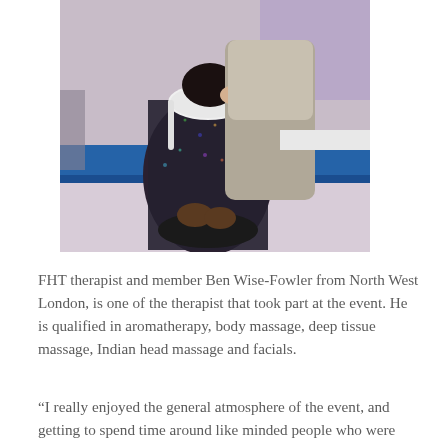[Figure (photo): A person receiving a massage treatment seated in a massage chair. A therapist stands behind them applying massage to the shoulders/neck area. The setting appears to be an event or exhibition with blue furnishings visible in the background.]
FHT therapist and member Ben Wise-Fowler from North West London, is one of the therapist that took part at the event. He is qualified in aromatherapy, body massage, deep tissue massage, Indian head massage and facials.
“I really enjoyed the general atmosphere of the event, and getting to spend time around like minded people who were really into the holistic